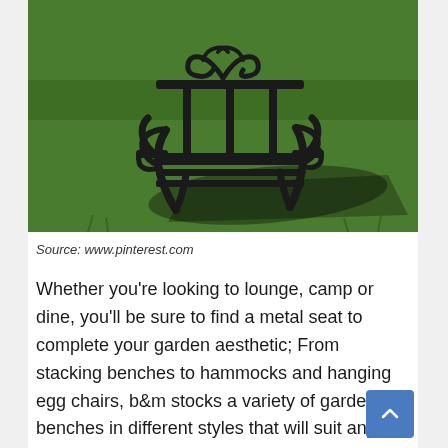[Figure (photo): A black metal garden bench with ornate scrollwork backrest sitting on a green lawn, casting a shadow on the grass.]
Source: www.pinterest.com
Whether you're looking to lounge, camp or dine, you'll be sure to find a metal seat to complete your garden aesthetic; From stacking benches to hammocks and hanging egg chairs, b&m stocks a variety of garden benches in different styles that will suit any garden.